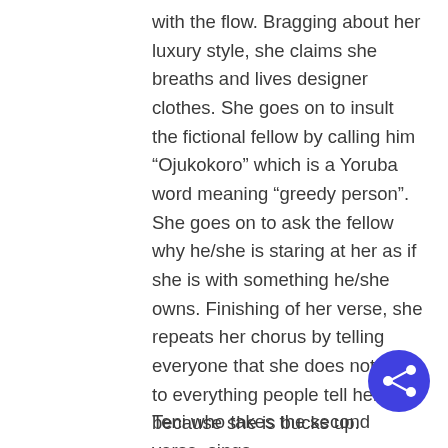with the flow. Bragging about her luxury style, she claims she breaths and lives designer clothes. She goes on to insult the fictional fellow by calling him “Ojukokoro” which is a Yoruba word meaning “greedy person”. She goes on to ask the fellow why he/she is staring at her as if she is with something he/she owns. Finishing of her verse, she repeats her chorus by telling everyone that she does not listen to everything people tell her because she is bucks up.
[Figure (other): Blue circular share button with share icon (network/arrow icon) in white]
Teni who takes the second verse, sings